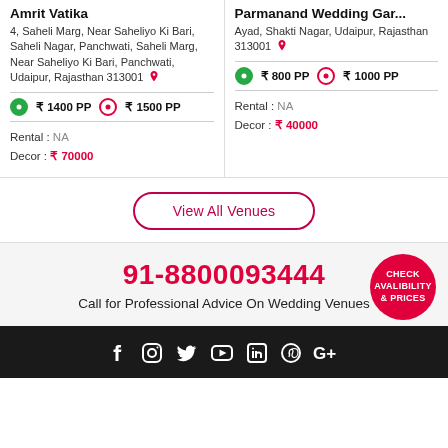Amrit Vatika
4, Saheli Marg, Near Saheliyo Ki Bari, Saheli Nagar, Panchwati, Saheli Marg, Near Saheliyo Ki Bari, Panchwati, Udaipur, Rajasthan 313001
₹ 1400 PP   ₹ 1500 PP
Rental : NA
Decor : ₹ 70000
Parmanand Wedding Gar...
Ayad, Shakti Nagar, Udaipur, Rajasthan 313001
₹ 800 PP   ₹ 1000 PP
Rental : NA
Decor : ₹ 40000
View All Venues
91-8800093444
Call for Professional Advice On Wedding Venues
CHECK AVALIBILITY & PRICES
f  Instagram  Twitter  YouTube  in  Pinterest  G+